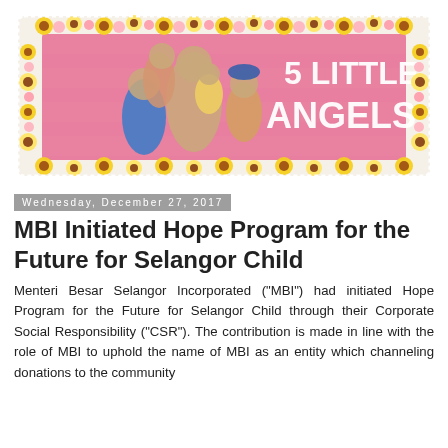[Figure (illustration): Decorative banner image titled '5 Little Angels' showing a woman with five children on a pink wooden plank background, surrounded by a floral border of yellow sunflowers and pink/white flowers.]
Wednesday, December 27, 2017
MBI Initiated Hope Program for the Future for Selangor Child
Menteri Besar Selangor Incorporated ("MBI") had initiated Hope Program for the Future for Selangor Child through their Corporate Social Responsibility ("CSR"). The contribution is made in line with the role of MBI to uphold the name of MBI as an entity which channeling donations to the community